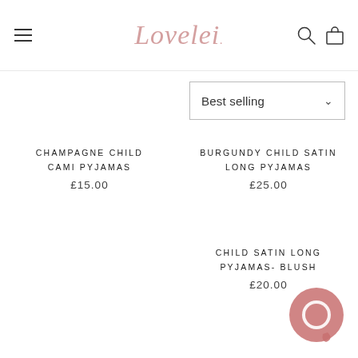Lovelei
Best selling
CHAMPAGNE CHILD CAMI PYJAMAS £15.00
BURGUNDY CHILD SATIN LONG PYJAMAS £25.00
CHILD SATIN LONG PYJAMAS- BLUSH £20.00
[Figure (illustration): Pink chat/messenger bubble icon]